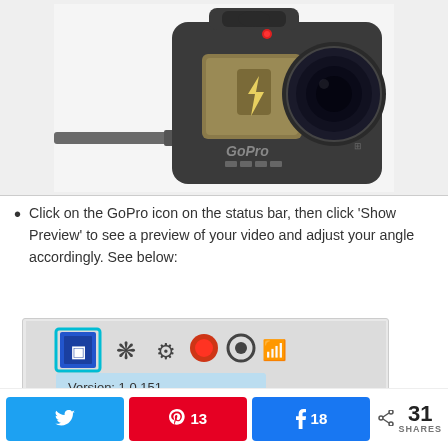[Figure (photo): GoPro camera (black action camera) with a USB cable connected, showing a charging icon on the front LCD screen and a red LED indicator. The GoPro logo is visible on the front of the camera.]
Click on the GoPro icon on the status bar, then click 'Show Preview' to see a preview of your video and adjust your angle accordingly. See below:
[Figure (screenshot): Screenshot of a macOS status bar showing several icons including a highlighted GoPro icon (with a cyan/teal selection box around it), a gear settings icon, a wifi icon, a red recording dot, a circular icon, and a wifi signal icon. Below the icons is a tooltip showing 'Version: 1.0.151'.]